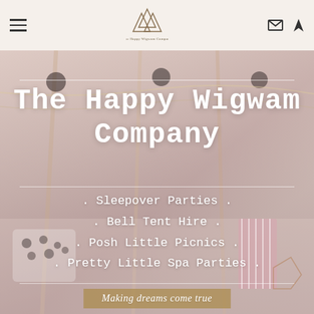Navigation bar with hamburger menu, The Happy Wigwam Company logo, email and location icons
[Figure (photo): Background photo of a styled wigwam/tent party setup with pink and white decorations, fairy lights, polka dot pillows, and striped gift bags]
The Happy Wigwam Company
. Sleepover Parties .
. Bell Tent Hire .
. Posh Little Picnics .
. Pretty Little Spa Parties .
Making dreams come true